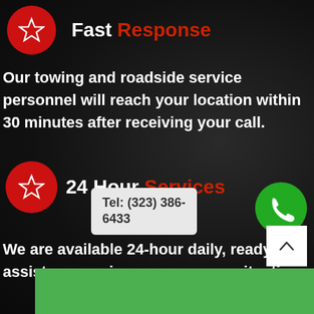Fast Response
Our towing and roadside service personnel will reach your location within 30 minutes after receiving your call.
24 Hour Services
Tel: (323) 386-6433
We are available 24-hour daily, ready to assist anyone in an emergency situation.